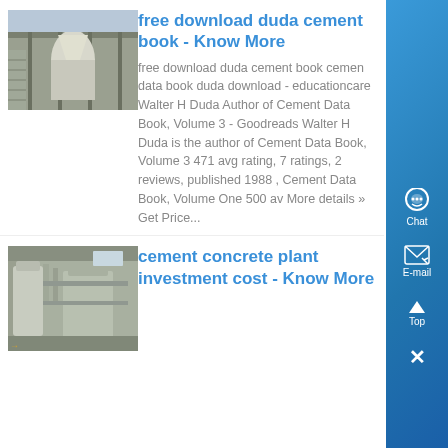[Figure (photo): Industrial cement plant or grinding mill machinery inside a large building]
free download duda cement book - Know More
free download duda cement book cemen data book duda download - educationcare Walter H Duda Author of Cement Data Book, Volume 3 - Goodreads Walter H Duda is the author of Cement Data Book, Volume 3 471 avg rating, 7 ratings, 2 reviews, published 1988 , Cement Data Book, Volume One 500 av More details » Get Price...
[Figure (photo): Cement concrete plant equipment, industrial tanks and machinery]
cement concrete plant investment cost - Know More